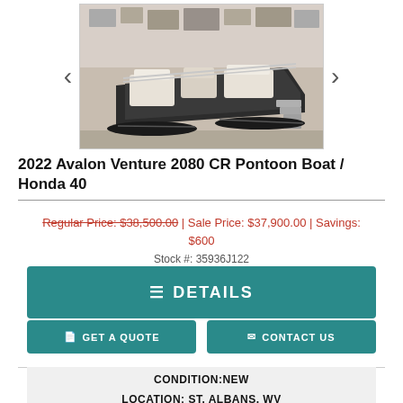[Figure (photo): Aerial/overhead view of a 2022 Avalon Venture 2080 CR Pontoon Boat displayed indoors in a showroom, showing white/cream upholstered seating, black pontoon body, and boarding steps.]
2022 Avalon Venture 2080 CR Pontoon Boat / Honda 40
Regular Price: $38,500.00 | Sale Price: $37,900.00 | Savings: $600
Stock #: 35936J122
≡ DETAILS
GET A QUOTE
CONTACT US
CONDITION: NEW
LOCATION: ST. ALBANS, WV